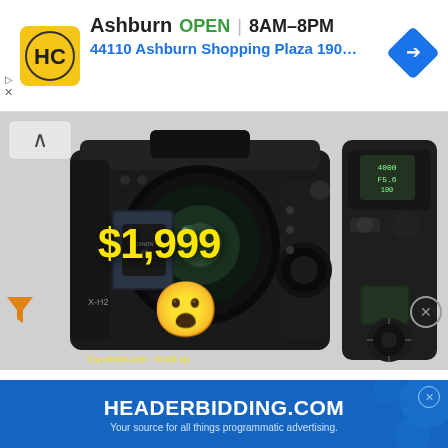[Figure (screenshot): Google Maps / local business ad banner showing HC logo, Ashburn store location: OPEN 8AM-8PM, 44110 Ashburn Shopping Plaza 190, A... with navigation arrow icon]
[Figure (photo): Camera product image showing Fujifilm X-H2 mirrorless camera body from front and top angles, with $1,999 price overlay in yellow text and a shocked emoji face. Watermark: fujirumors.com - mock-up]
Fujirumors unveiled the first specs of the new X-H2:
40MP sensor
8K video
$1,999 price
[Figure (screenshot): HEADERBIDDING.COM advertisement banner in blue: Your source for all things programmatic advertising.]